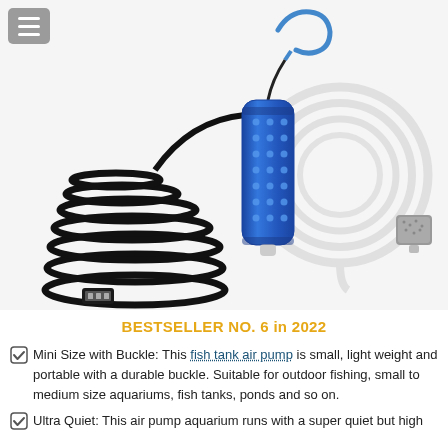[Figure (photo): Product photo showing a USB aquarium air pump kit with blue cylindrical pump body with carabiner clip, black USB cable, clear white tubing coiled, and a gray air stone]
BESTSELLER NO. 6 in 2022
Mini Size with Buckle: This fish tank air pump is small, light weight and portable with a durable buckle. Suitable for outdoor fishing, small to medium size aquariums, fish tanks, ponds and so on.
Ultra Quiet: This air pump aquarium runs with a super quiet but high